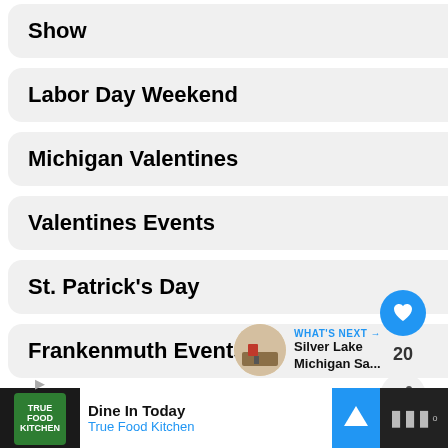Show
Labor Day Weekend
Michigan Valentines
Valentines Events
St. Patrick's Day
Frankenmuth Events
Grand Prix Detroit
Halloween Events
Haunted Houses
[Figure (infographic): Social sidebar with heart/like button showing count 20, share button, and What's Next panel showing Silver Lake Michigan Sa...]
Dine In Today | True Food Kitchen (advertisement bar)